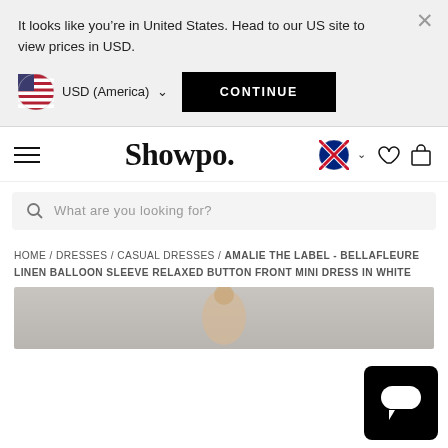It looks like you’re in United States. Head to our US site to view prices in USD.
USD (America)
CONTINUE
Showpo.
What are you looking for?
HOME / DRESSES / CASUAL DRESSES / AMALIE THE LABEL - BELLAFLEURE LINEN BALLOON SLEEVE RELAXED BUTTON FRONT MINI DRESS IN WHITE
[Figure (screenshot): Partial product image showing top of a model wearing a white dress, grey background]